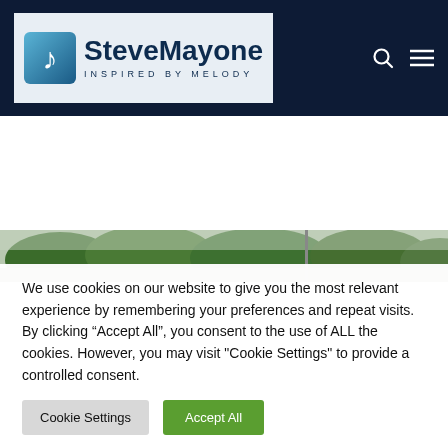SteveMayone INSPIRED BY MELODY
[Figure (photo): Narrow landscape banner photo showing green trees against a cloudy sky]
We use cookies on our website to give you the most relevant experience by remembering your preferences and repeat visits. By clicking “Accept All”, you consent to the use of ALL the cookies. However, you may visit "Cookie Settings" to provide a controlled consent.
Cookie Settings   Accept All